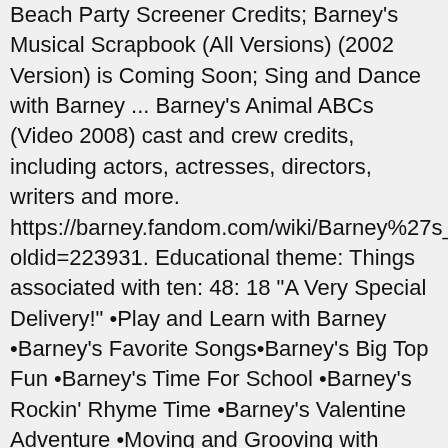Beach Party Screener Credits; Barney's Musical Scrapbook (All Versions) (2002 Version) is Coming Soon; Sing and Dance with Barney ... Barney's Animal ABCs (Video 2008) cast and crew credits, including actors, actresses, directors, writers and more. https://barney.fandom.com/wiki/Barney%27s_Animal_ABCs oldid=223931. Educational theme: Things associated with ten: 48: 18 "A Very Special Delivery!" •Play and Learn with Barney •Barney's Favorite Songs•Barney's Big Top Fun •Barney's Time For School •Barney's Rockin' Rhyme Time •Barney's Valentine Adventure •Moving and Grooving with Barney • Barney's Night Light Stories•Barney's Island Safari •Barney's Learning Round-Up•Going Places with Barney • On The Move with Barney •Barney's Summertime Fun • Barney: Sing Along Fun, • Barney's ABCs and 123s • Barney's Outdoor Fun! • Barney's Numbers! That's a zebra. Get Free Shipping & CoD options across India. No hay comentarios: Publicar